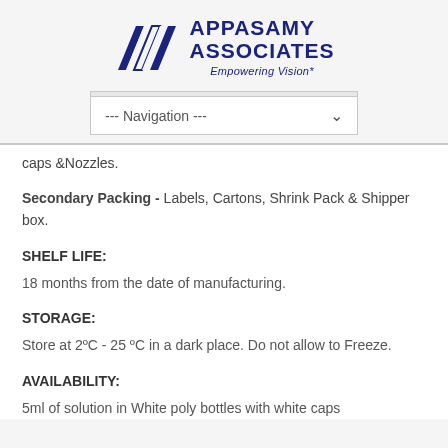[Figure (logo): Appasamy Associates logo with stylized 'A' graphic and text 'APPASAMY ASSOCIATES - Empowering Vision*']
--- Navigation ---
caps &Nozzles.
Secondary Packing - Labels, Cartons, Shrink Pack & Shipper box.
SHELF LIFE:
18 months from the date of manufacturing.
STORAGE:
Store at 2ºC - 25 ºC in a dark place. Do not allow to Freeze.
AVAILABILITY:
5ml of solution in White poly bottles with white caps